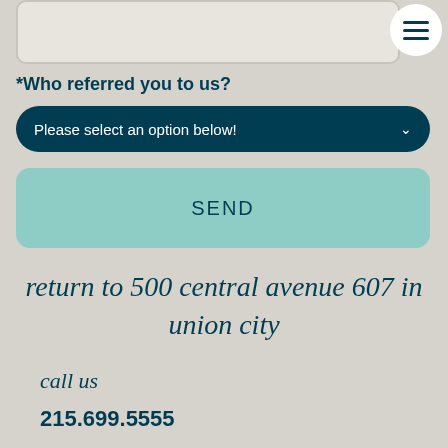[Figure (screenshot): Top input box area with rounded rectangle border on beige/gray background]
*Who referred you to us?
[Figure (screenshot): Dark teal dropdown selector with text 'Please select an option below!' and chevron arrow, rounded pill shape]
[Figure (screenshot): Teal/mint colored SEND button with rounded corners]
return to 500 central avenue 607 in union city
call us
215.699.5555